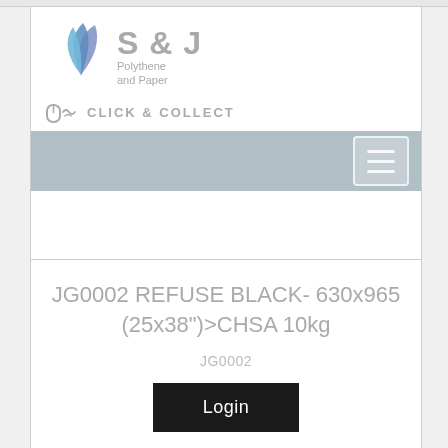[Figure (logo): S&J Polythene and Paper logo with blue layered paper fan graphic and Click & Collect badge]
JG0002 REFUSE BLACK- 630x965 (25x38")>CHSA 10kg
JG0002
Login